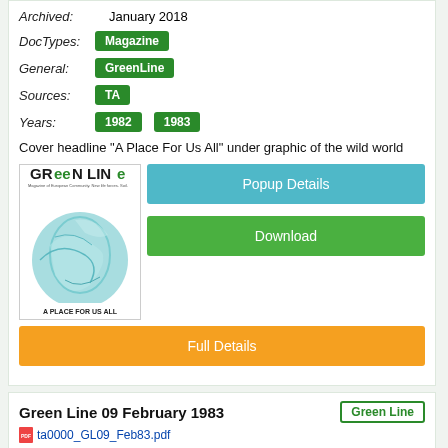Archived:   January 2018
DocTypes: Magazine
General: GreenLine
Sources: TA
Years: 1982  1983
Cover headline "A Place For Us All" under graphic of the wild world
[Figure (illustration): Magazine cover of Green Line with globe graphic and text 'A Place For Us All']
Popup Details
Download
Full Details
Green Line 09 February 1983
ta0000_GL09_Feb83.pdf